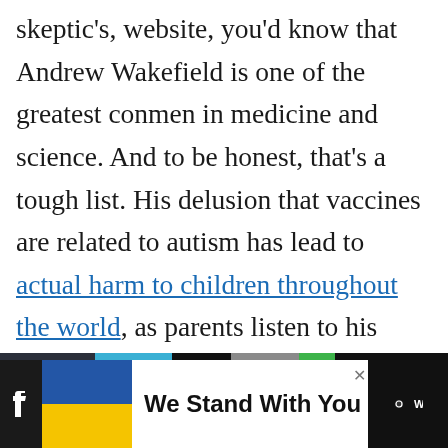skeptic's, website, you'd know that Andrew Wakefield is one of the greatest conmen in medicine and science. And to be honest, that's a tough list. His delusion that vaccines are related to autism has lead to actual harm to children throughout the world, as parents listen to his junk medicine and refuse to protect their children from vaccine preventable diseases.
[Figure (screenshot): Share widget showing count 0 and a share icon button]
[Figure (screenshot): Advertisement banner: We Stand With You, with Ukraine flag colors and dark background social media icons]